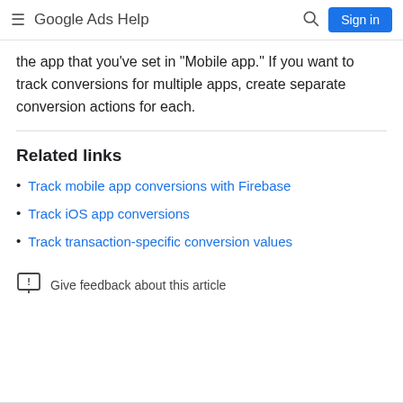Google Ads Help
the app that you’ve set in “Mobile app.” If you want to track conversions for multiple apps, create separate conversion actions for each.
Related links
Track mobile app conversions with Firebase
Track iOS app conversions
Track transaction-specific conversion values
Give feedback about this article